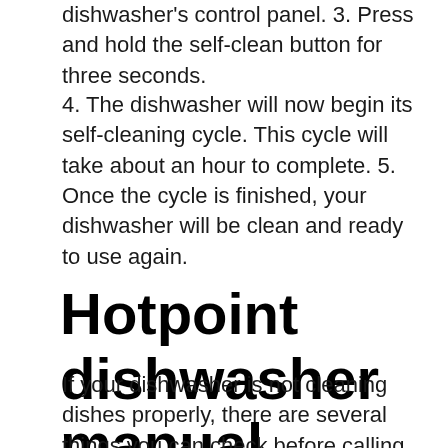dishwasher's control panel. 3. Press and hold the self-clean button for three seconds.
4. The dishwasher will now begin its self-cleaning cycle. This cycle will take about an hour to complete. 5. Once the cycle is finished, your dishwasher will be clean and ready to use again.
Hotpoint dishwasher manual
If your dishwasher is not cleaning dishes properly, there are several things you can check before calling a repairman. First, consult your Hotpoint dishwasher manual. The manual will have information on how to